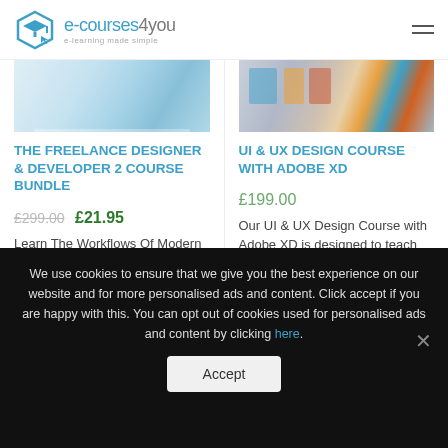e-courses4you — e-learning made simple
[Figure (screenshot): Partial thumbnail of design/web course materials]
THE FREELANCE DESIGNER & DEVELOPER 2 COURSE BUNDLE
£299.00  £21.95
Learn The Workflows Of Modern Web Design &
[Figure (screenshot): Partial thumbnail of UI/UX design course materials with colorful tools]
UI & UX DESIGN COURSE WITH ADOBE XD
£199.00
Our UI & UX Design Course with Adobe XD is designed to teach you all…
We use cookies to ensure that we give you the best experience on our website and for more personalised ads and content. Click accept if you are happy with this. You can opt out of cookies used for personalised ads and content by clicking here.